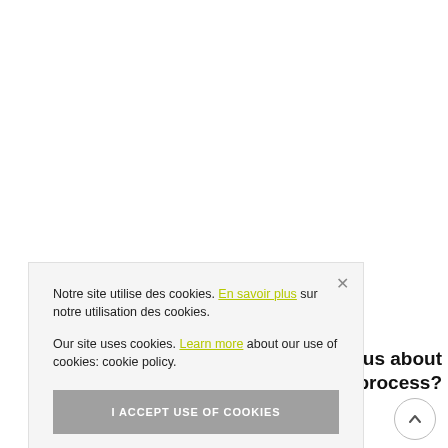Notre site utilise des cookies. En savoir plus sur notre utilisation des cookies.
Our site uses cookies. Learn more about our use of cookies: cookie policy.
I ACCEPT USE OF COOKIES
u tell us about e process?